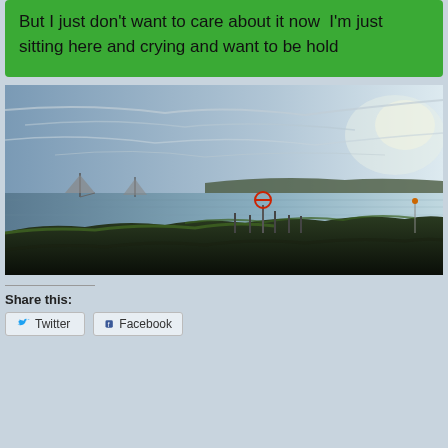But I just don't want to care about it now  I'm just sitting here and crying and want to be hold
[Figure (photo): Outdoor coastal or lake scene at dusk/dawn. Dark rocky foreground with grass, calm water reflecting light, sailboats visible in the distance, cloudy sky with bright light on the right side.]
Share this: